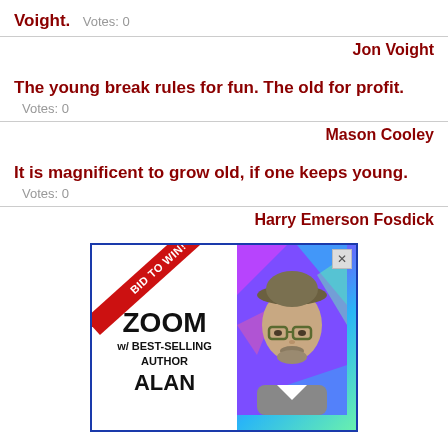Voight. Votes: 0
Jon Voight
The young break rules for fun. The old for profit. Votes: 0
Mason Cooley
It is magnificent to grow old, if one keeps young. Votes: 0
Harry Emerson Fosdick
[Figure (photo): Advertisement banner: BID TO WIN ribbon, ZOOM w/ BEST-SELLING AUTHOR ALAN text, and photo of a man with glasses and a hat against a colorful geometric background.]